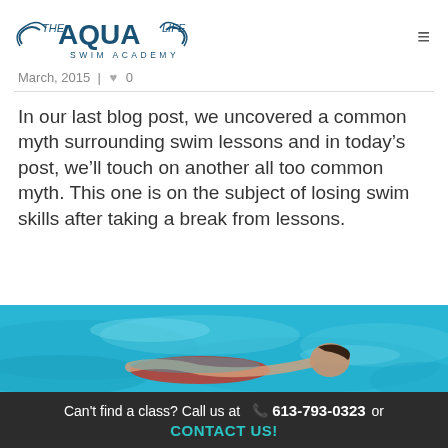The Aqua Life Swim Academy
March, 2015 | ♥ 0
In our last blog post, we uncovered a common myth surrounding swim lessons and in today's post, we'll touch on another all too common myth. This one is on the subject of losing swim skills after taking a break from lessons.
[Figure (photo): A woman swimming in a pool with blue water, wearing a red swimsuit, swimming on her back or side, arms extended.]
Can't find a class? Call us at  📞 613-793-0323  or  CONTACT US!